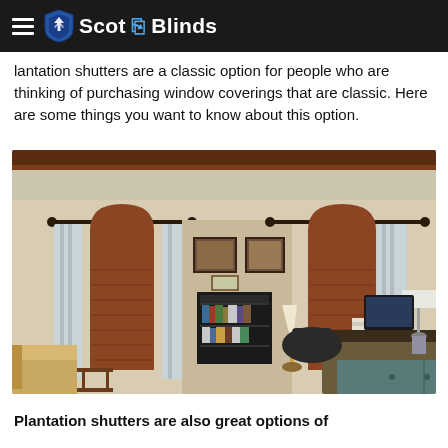Scot Blinds
Plantation shutters are a classic option for people who are thinking of purchasing window coverings that are classic. Here are some things you want to know about this option.
[Figure (photo): Interior room photo showing two arched wooden plantation shutters on windows with light curtains, a bookcase, desk, lamp, and armchair in a warm-toned room.]
Plantation shutters are also great options of